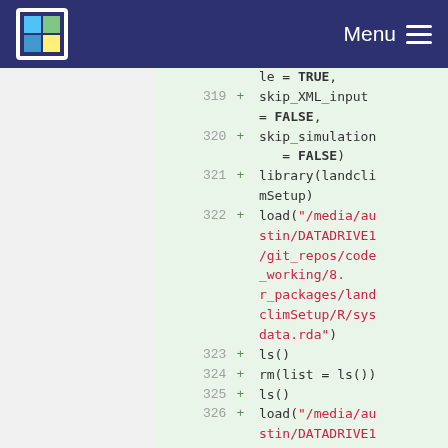Menu
[Figure (screenshot): Code diff view showing lines 319-326 of R code with green highlighted additions. Lines include skip_XML_input = FALSE, skip_simulation = FALSE, library(landclimSetup), load() calls with file paths in red, ls(), rm(list = ls()), ls(), and another load() call.]